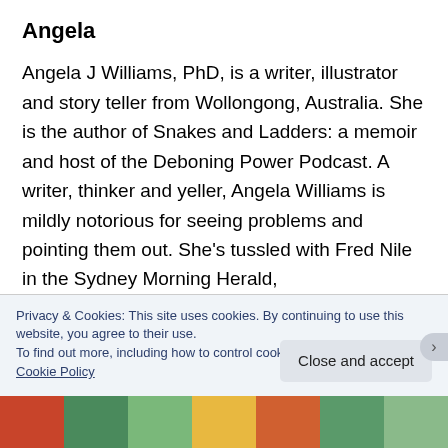Angela
Angela J Williams, PhD, is a writer, illustrator and story teller from Wollongong, Australia. She is the author of Snakes and Ladders: a memoir and host of the Deboning Power Podcast. A writer, thinker and yeller, Angela Williams is mildly notorious for seeing problems and pointing them out. She's tussled with Fred Nile in the Sydney Morning Herald,
Privacy & Cookies: This site uses cookies. By continuing to use this website, you agree to their use.
To find out more, including how to control cookies, see here:
Cookie Policy
Close and accept